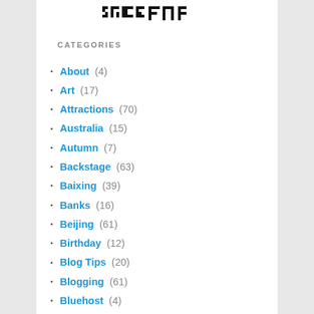[Figure (logo): Blog logo/header image with pixel-style text]
CATEGORIES
About (4)
Art (17)
Attractions (70)
Australia (15)
Autumn (7)
Backstage (63)
Baixing (39)
Banks (16)
Beijing (61)
Birthday (12)
Blog Tips (20)
Blogging (61)
Bluehost (4)
Boat (5)
Books (17)
Bookstores (5)
Boston (3)
Bus (7)